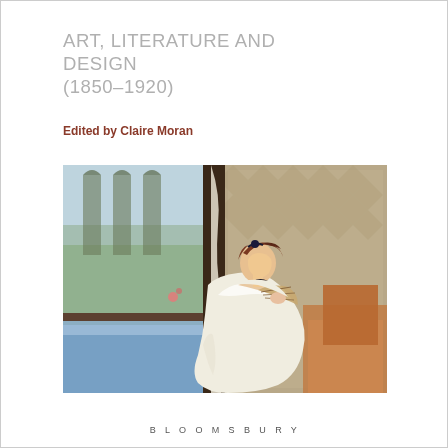ART, LITERATURE AND DESIGN (1850–1920)
Edited by Claire Moran
[Figure (photo): Impressionist painting of a young woman in a white dress seated by an open window, holding a fan, with a view of a balcony and garden outside. The work is in a warm, soft palette typical of late 19th-century French Impressionism.]
BLOOMSBURY